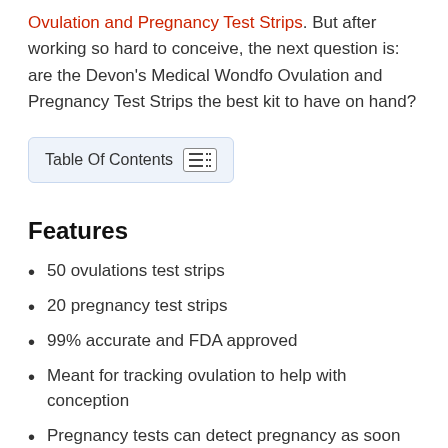Ovulation and Pregnancy Test Strips. But after working so hard to conceive, the next question is: are the Devon's Medical Wondfo Ovulation and Pregnancy Test Strips the best kit to have on hand?
Table Of Contents
Features
50 ovulations test strips
20 pregnancy test strips
99% accurate and FDA approved
Meant for tracking ovulation to help with conception
Pregnancy tests can detect pregnancy as soon